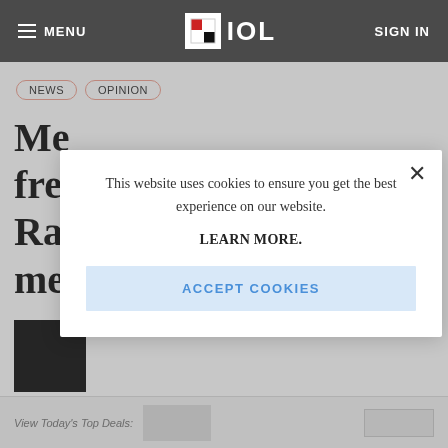≡ MENU  IOL  SIGN IN
NEWS
OPINION
Me
fre
Ra
me
[Figure (screenshot): Cookie consent modal overlay on IOL news website. Modal contains text: 'This website uses cookies to ensure you get the best experience on our website.' followed by 'LEARN MORE.' and an 'ACCEPT COOKIES' button. A close (×) button is in the top right corner of the modal.]
View Today's Top Deals: